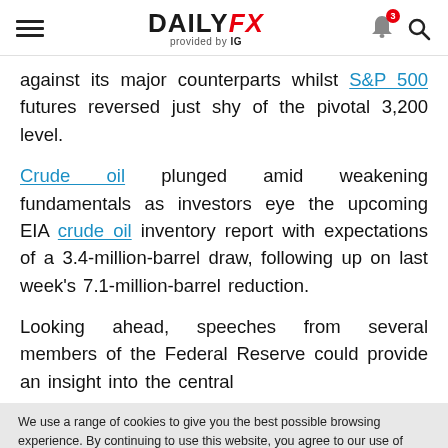DAILYFX provided by IG
against its major counterparts whilst S&P 500 futures reversed just shy of the pivotal 3,200 level.
Crude oil plunged amid weakening fundamentals as investors eye the upcoming EIA crude oil inventory report with expectations of a 3.4-million-barrel draw, following up on last week's 7.1-million-barrel reduction.
Looking ahead, speeches from several members of the Federal Reserve could provide an insight into the central
We use a range of cookies to give you the best possible browsing experience. By continuing to use this website, you agree to our use of cookies.
You can learn more about our cookie policy here, or by following the link at the bottom of any page on our site. See our updated Privacy Policy here.
Accept